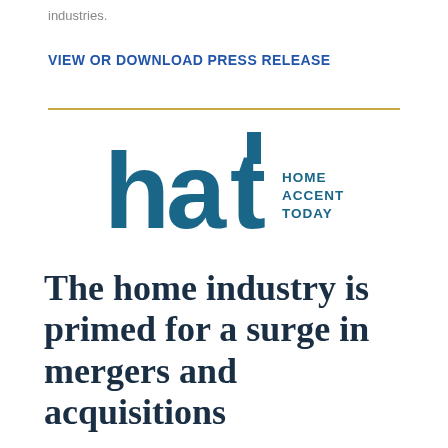industries.
VIEW OR DOWNLOAD PRESS RELEASE
[Figure (logo): Home Accents Today (HAT) logo — large teal lowercase 'hat' letters with 'HOME ACCENTS TODAY' text stacked to the right]
The home industry is primed for a surge in mergers and acquisitions